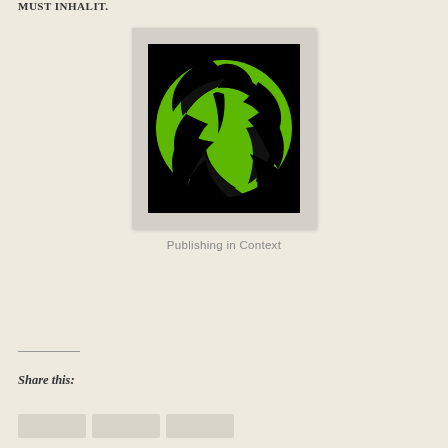MUST INHALIT.
[Figure (logo): Circular green and black logo featuring three leaf/wing shapes arranged in a pinwheel pattern inside a circle, on a black background, within a light grey polaroid-style frame]
Publishing in Context
Share this: